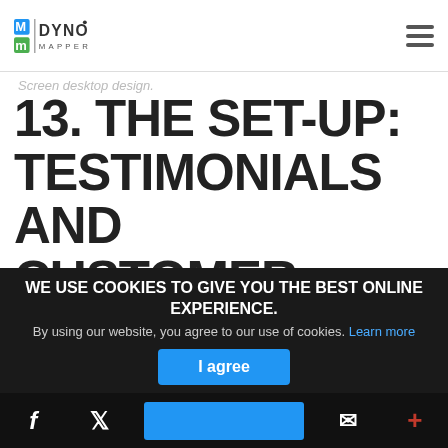Dyno Mapper logo and navigation
Screen desktop design.
13. THE SET-UP: TESTIMONIALS AND CUSTOMER REVIEWS
You know what really entices ecommerce website visitors to make a purchase once they've landed on your product page?
Testimonials and customer reviews. The former is better suited for placement on the home page, as testimonials will
WE USE COOKIES TO GIVE YOU THE BEST ONLINE EXPERIENCE.
By using our website, you agree to our use of cookies. Learn more
I agree
Social share bar: Facebook, Twitter, Email, Plus